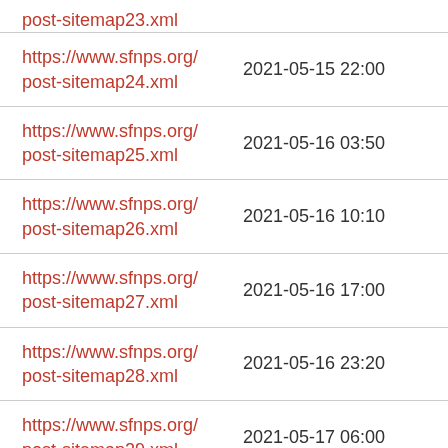| URL | Date |
| --- | --- |
| https://www.sfnps.org/post-sitemap23.xml (partial) |  |
| https://www.sfnps.org/post-sitemap24.xml | 2021-05-15 22:00 |
| https://www.sfnps.org/post-sitemap25.xml | 2021-05-16 03:50 |
| https://www.sfnps.org/post-sitemap26.xml | 2021-05-16 10:10 |
| https://www.sfnps.org/post-sitemap27.xml | 2021-05-16 17:00 |
| https://www.sfnps.org/post-sitemap28.xml | 2021-05-16 23:20 |
| https://www.sfnps.org/post-sitemap29.xml (partial) | 2021-05-17 06:00 |